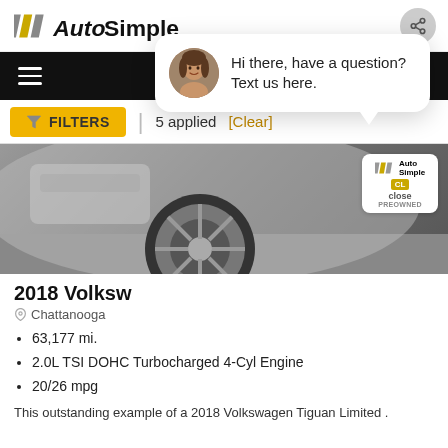Auto Simple
[Figure (screenshot): Auto Simple car dealership website screenshot showing navigation bar with hamburger menu, location icon with '5' dropdown, phone icon, and search icon on black background]
[Figure (infographic): Filter bar with yellow FILTERS button showing funnel icon, vertical divider, '5 applied' text, and [Clear] link]
[Figure (photo): Close-up photo of a car wheel and front bumper area of a 2018 Volkswagen Tiguan Limited, with Auto Simple logo badge and 'close' overlay badge, plus chat popup with female avatar saying 'Hi there, have a question? Text us here.']
2018 Volksw
Chattanooga
63,177 mi.
2.0L TSI DOHC Turbocharged 4-Cyl Engine
20/26 mpg
This outstanding example of a 2018 Volkswagen Tiguan Limited .